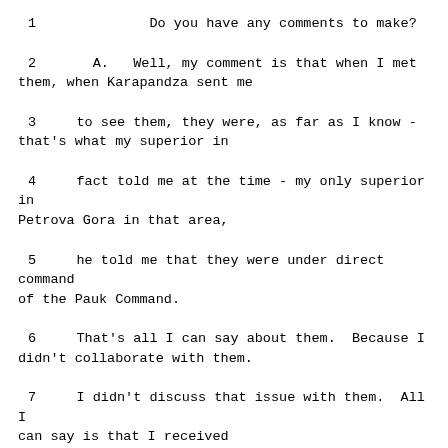1    Do you have any comments to make?
2    A.  Well, my comment is that when I met them, when Karapandza sent me
3    to see them, they were, as far as I know - that's what my superior in
4    fact told me at the time - my only superior in Petrova Gora in that area,
5    he told me that they were under direct command of the Pauk Command.
6    That's all I can say about them.  Because I didn't collaborate with them.
7    I didn't discuss that issue with them.  All I can say is that I received